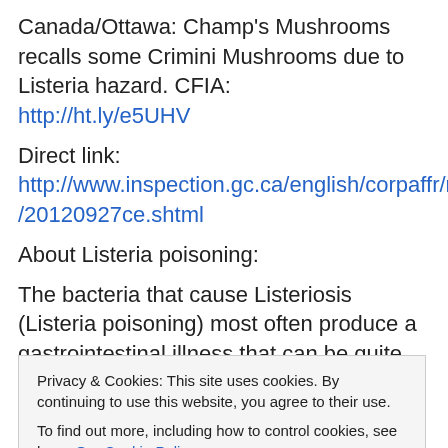Canada/Ottawa: Champ's Mushrooms recalls some Crimini Mushrooms due to Listeria hazard. CFIA: http://ht.ly/e5UHV
Direct link: http://www.inspection.gc.ca/english/corpaffr/recarapp/2012/20120927ce.shtml
About Listeria poisoning:
The bacteria that cause Listeriosis (Listeria poisoning) most often produce a gastrointestinal illness that can be quite serious or even fatal. Listeriosis in pregnancy, for
Privacy & Cookies: This site uses cookies. By continuing to use this website, you agree to their use.
To find out more, including how to control cookies, see here: Our Cookie Policy
Health Canada: http://bit.ly/KpaEar